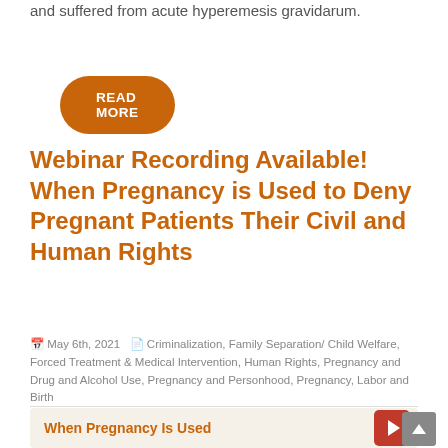and suffered from acute hyperemesis gravidarum.
READ MORE
Webinar Recording Available! When Pregnancy is Used to Deny Pregnant Patients Their Civil and Human Rights
May 6th, 2021  Criminalization, Family Separation/ Child Welfare, Forced Treatment & Medical Intervention, Human Rights, Pregnancy and Drug and Alcohol Use, Pregnancy and Personhood, Pregnancy, Labor and Birth
[Figure (screenshot): Thumbnail image for webinar titled 'When Pregnancy Is Used' with an orange play button on a beige background]